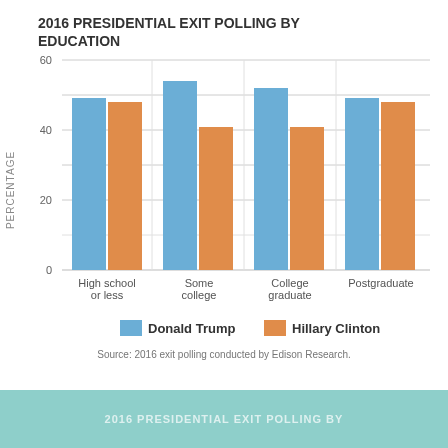[Figure (grouped-bar-chart): 2016 PRESIDENTIAL EXIT POLLING BY EDUCATION]
Source: 2016 exit polling conducted by Edison Research.
2016 PRESIDENTIAL EXIT POLLING BY